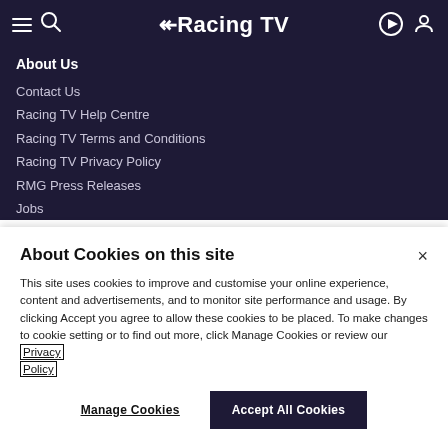[Figure (screenshot): Racing TV navigation bar with hamburger menu, search icon, Racing TV logo, play button and user icon]
About Us
Contact Us
Racing TV Help Centre
Racing TV Terms and Conditions
Racing TV Privacy Policy
RMG Press Releases
Jobs
About Cookies on this site
This site uses cookies to improve and customise your online experience, content and advertisements, and to monitor site performance and usage. By clicking Accept you agree to allow these cookies to be placed. To make changes to cookie setting or to find out more, click Manage Cookies or review our Privacy Policy
Manage Cookies
Accept All Cookies